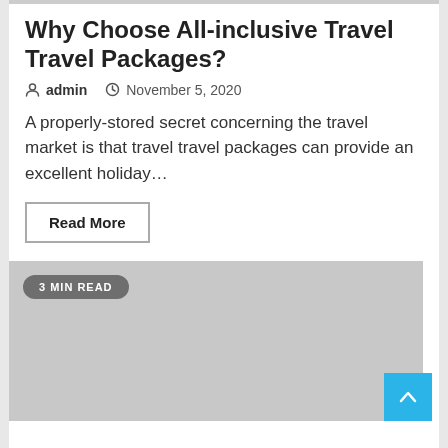Why Choose All-inclusive Travel Travel Packages?
admin   November 5, 2020
A properly-stored secret concerning the travel market is that travel travel packages can provide an excellent holiday...
Read More
[Figure (photo): Gray placeholder image for a blog post article, with a '3 MIN READ' badge overlay in the upper left corner]